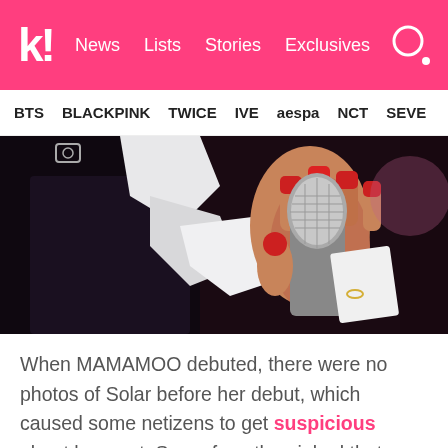k! News Lists Stories Exclusives
BTS BLACKPINK TWICE IVE aespa NCT SEVE
[Figure (photo): Close-up photo of a person holding a microphone with red-painted fingernails, wearing black and white outfit]
When MAMAMOO debuted, there were no photos of Solar before her debut, which caused some netizens to get suspicious about her past. Some fans then joked that Solar didn't have any past pictures since she was from North Korea.